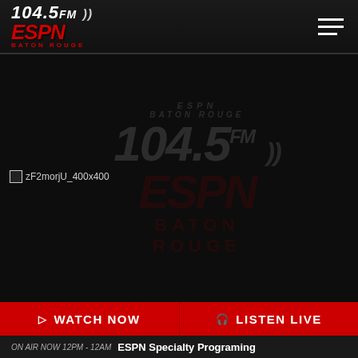104.5 FM ESPN Baton Rouge — navigation header with hamburger menu
[Figure (logo): 104.5 FM ESPN Baton Rouge watermark logo on dark background with broken image placeholder 'zF2morjU_400x400']
▷ WATCH NOW
🎧 LISTEN LIVE
ON AIR NOW 12PM - 12AM   ESPN Specialty Programing